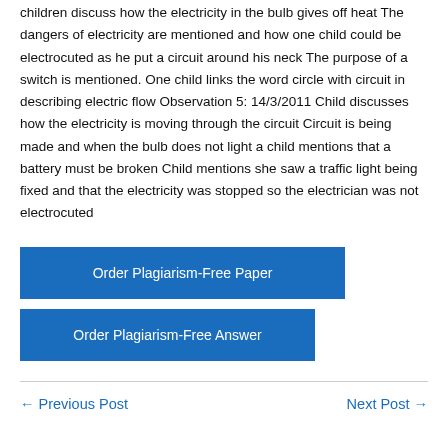children discuss how the electricity in the bulb gives off heat The dangers of electricity are mentioned and how one child could be electrocuted as he put a circuit around his neck The purpose of a switch is mentioned. One child links the word circle with circuit in describing electric flow Observation 5: 14/3/2011 Child discusses how the electricity is moving through the circuit Circuit is being made and when the bulb does not light a child mentions that a battery must be broken Child mentions she saw a traffic light being fixed and that the electricity was stopped so the electrician was not electrocuted
Order Plagiarism-Free Paper
Order Plagiarism-Free Answer
← Previous Post
Next Post →